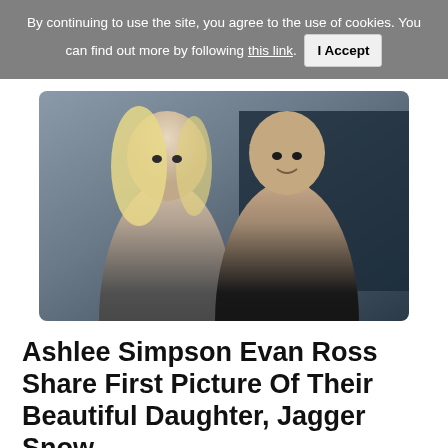By continuing to use the site, you agree to the use of cookies. You can find out more by following this link. I Accept
[Figure (photo): Photo of Ashlee Simpson and Evan Ross posing together at an event, with movie poster text visible in background]
Ashlee Simpson Evan Ross Share First Picture Of Their Beautiful Daughter, Jagger Snow
Ashlee Simpson has shared the first picture of her daughter, Jagger Snow, with her 220k followers on Instagram. The photo was posted on Thursday (24th